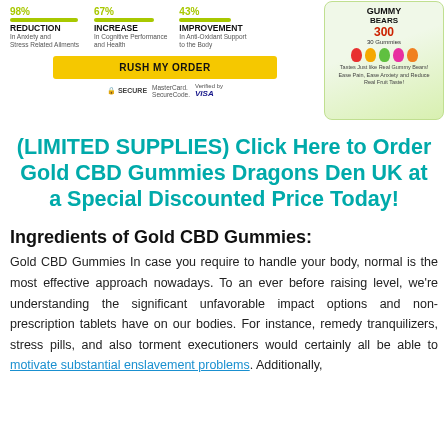[Figure (infographic): Product stats banner showing 98% Reduction in Anxiety and Stress Related Ailments, 67% Increase in Cognitive Performance and Health, 43% Improvement in Anti-Oxidant Support to the Body, with a Rush My Order button and secure payment icons, alongside a CBD gummy bears product image.]
(LIMITED SUPPLIES) Click Here to Order Gold CBD Gummies Dragons Den UK at a Special Discounted Price Today!
Ingredients of Gold CBD Gummies:
Gold CBD Gummies In case you require to handle your body, normal is the most effective approach nowadays. To an ever before raising level, we're understanding the significant unfavorable impact options and non-prescription tablets have on our bodies. For instance, remedy tranquilizers, stress pills, and also torment executioners would certainly all be able to motivate substantial enslavement problems. Additionally,